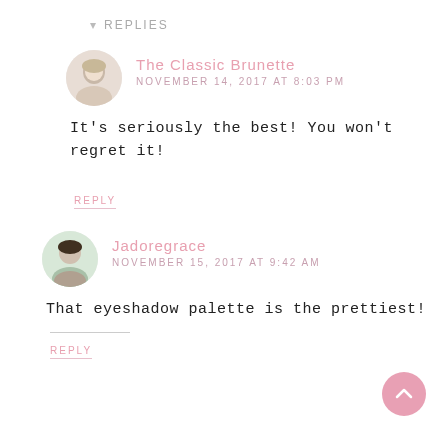▾ REPLIES
The Classic Brunette
NOVEMBER 14, 2017 AT 8:03 PM
It's seriously the best! You won't regret it!
REPLY
Jadoregrace
NOVEMBER 15, 2017 AT 9:42 AM
That eyeshadow palette is the prettiest!
REPLY